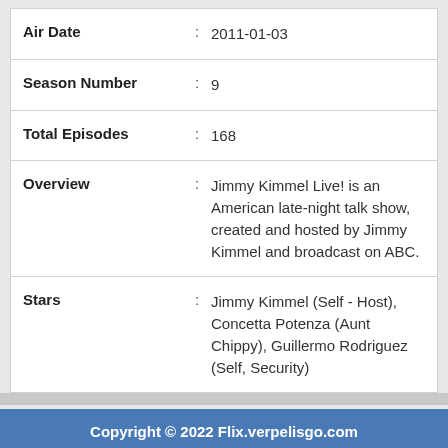| Air Date | 2011-01-03 |
| Season Number | 9 |
| Total Episodes | 168 |
| Overview | Jimmy Kimmel Live! is an American late-night talk show, created and hosted by Jimmy Kimmel and broadcast on ABC. |
| Stars | Jimmy Kimmel (Self - Host), Concetta Potenza (Aunt Chippy), Guillermo Rodriguez (Self, Security) |
Copyright © 2022 Flix.verpelisgo.com
About US | Contact Us | DMCA | Privacy Police